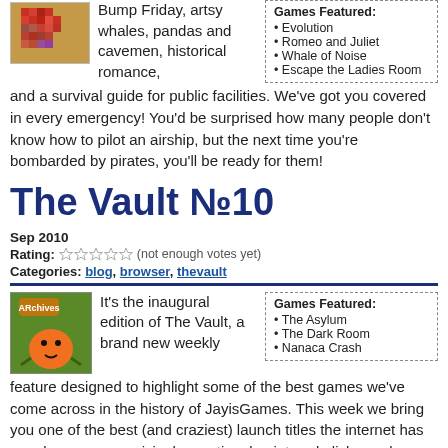Bump Friday, artsy whales, pandas and cavemen, historical romance, and a survival guide for public facilities. We've got you covered in every emergency! You'd be surprised how many people don't know how to pilot an airship, but the next time you're bombarded by pirates, you'll be ready for them!
Evolution
Romeo and Juliet
Whale of Noise
Escape the Ladies Room
The Vault №10
Sep 2010
Rating: ☆☆☆☆☆ (not enough votes yet)
Categories: blog, browser, thevault
It's the inaugural edition of The Vault, a brand new weekly feature designed to highlight some of the best games we've come across in the history of JayisGames. This week we bring you one of the best (and craziest) launch titles the internet has ever known, a surprisingly emotional point-and-click puzzle about an asylum full of toys, and one
The Asylum
The Dark Room
Nanaca Crash